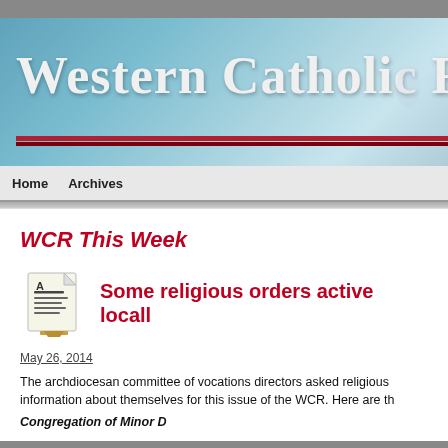[Figure (logo): Western Catholic Reporter website header banner with large serif white text on blue gradient background, with red underline decoration and a dove watermark on the right]
Home   Archives
WCR This Week
[Figure (illustration): Small icon of a document/newspaper with lines of text, representing a news article]
Some religious orders active locall
May 26, 2014
The archdiocesan committee of vocations directors asked religious information about themselves for this issue of the WCR. Here are th
Congregation of Minor D...